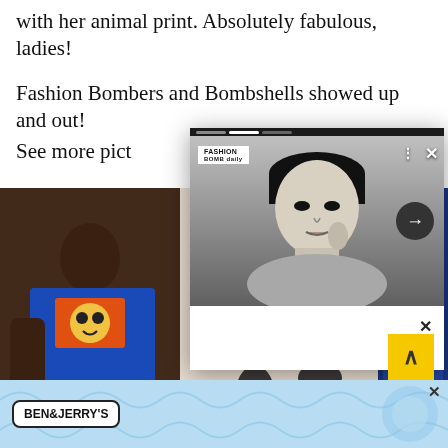with her animal print. Absolutely fabulous, ladies!
Fashion Bombers and Bombshells showed up and out!
See more pict
[Figure (photo): Left: Black woman in blue and orange top with graphic print. Center bottom: person in black and white animal print top. Right: person in blue jacket. Overlaid popup showing black and white portrait photo of young woman with bob haircut, finger near lips, with navigation arrow and close button. Logo reads 'Fashion Bomb Daily'.]
[Figure (photo): Ben & Jerry's advertisement banner with blue background and squiggly line design, logo in white box.]